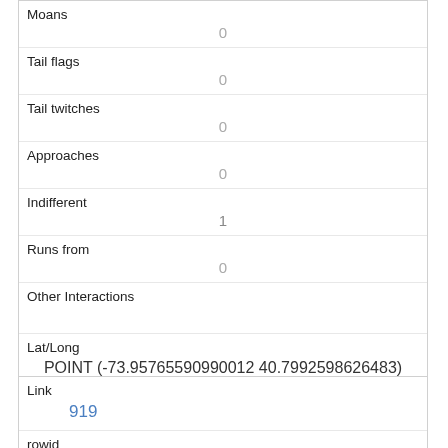| Moans | 0 |
| Tail flags | 0 |
| Tail twitches | 0 |
| Approaches | 0 |
| Indifferent | 1 |
| Runs from | 0 |
| Other Interactions |  |
| Lat/Long | POINT (-73.95765590990012 40.7992598626483) |
| Link | 919 |
| rowid |  |